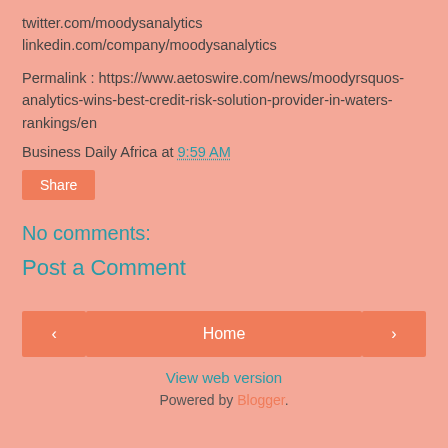twitter.com/moodysanalytics
linkedin.com/company/moodysanalytics
Permalink : https://www.aetoswire.com/news/moodyrsquos-analytics-wins-best-credit-risk-solution-provider-in-waters-rankings/en
Business Daily Africa at 9:59 AM
Share
No comments:
Post a Comment
< Home > View web version Powered by Blogger.